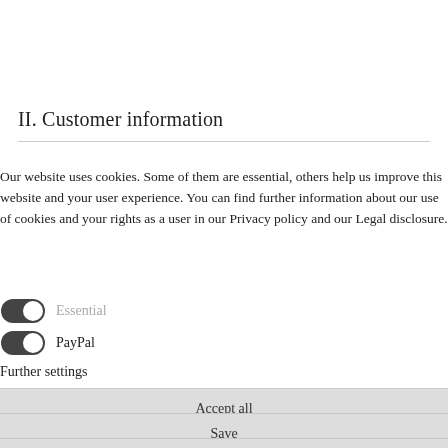II. Customer information
Our website uses cookies. Some of them are essential, others help us improve this website and your user experience. You can find further information about our use of cookies and your rights as a user in our Privacy policy and our Legal disclosure.
Essential (toggle on)
PayPal (toggle on)
Further settings
Accept all
Save
Alle ablehnen